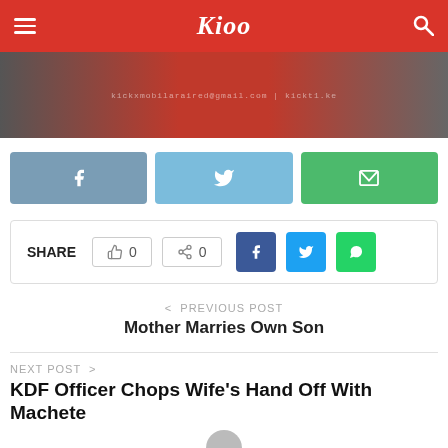Kioo
[Figure (photo): Banner image with red and dark background, showing partial figures and small overlay text with email and website]
[Figure (infographic): Three social share buttons: Facebook (blue-grey), Twitter (light blue), Email (green)]
SHARE  0  0  [Facebook] [Twitter] [WhatsApp]
< PREVIOUS POST
Mother Marries Own Son
NEXT POST >
KDF Officer Chops Wife's Hand Off With Machete